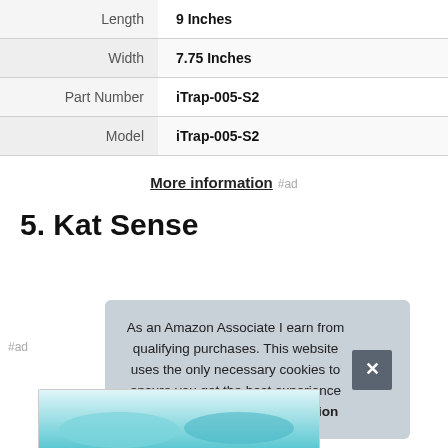| Length | 9 Inches |
| Width | 7.75 Inches |
| Part Number | iTrap-005-S2 |
| Model | iTrap-005-S2 |
More information #ad
5. Kat Sense
#ad
As an Amazon Associate I earn from qualifying purchases. This website uses the only necessary cookies to ensure you get the best experience on our website. More information
[Figure (photo): Product image strip at bottom, teal/cyan colored product photo]